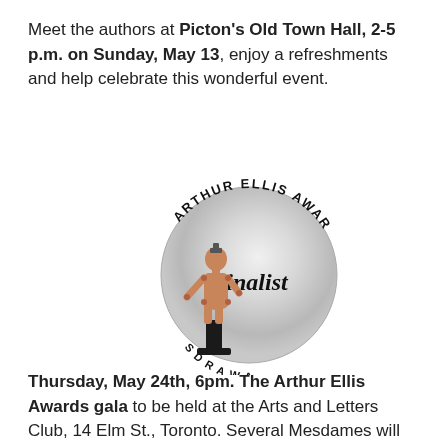Meet the authors at Picton's Old Town Hall, 2-5 p.m. on Sunday, May 13, enjoy a refreshments and help celebrate this wonderful event.
[Figure (illustration): Arthur Ellis Awards Finalist badge: a wooden articulated mannequin figure on a pedestal, overlapping a silver/metallic circular seal with the text 'ARTHUR ELLIS AWARDS' around the perimeter and 'Finalist' in italic script in the center.]
Thursday, May 24th, 6pm. The Arthur Ellis Awards gala to be held at the Arts and Letters Club, 14 Elm St., Toronto. Several Mesdames will be in attendance!